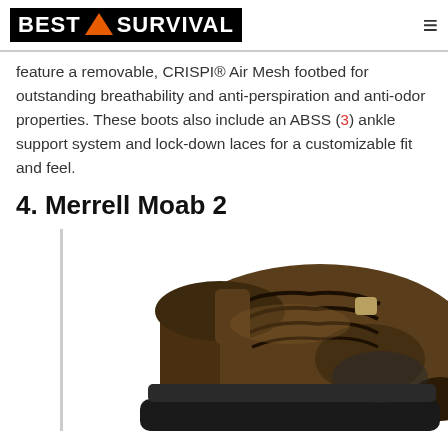BEST SURVIVAL
feature a removable, CRISPI® Air Mesh footbed for outstanding breathability and anti-perspiration and anti-odor properties. These boots also include an ABSS (3) ankle support system and lock-down laces for a customizable fit and feel.
4. Merrell Moab 2
[Figure (photo): A brown Merrell Moab 2 hiking boot shown from the side, with dark laces, mesh panels, and rugged sole, against a white background.]